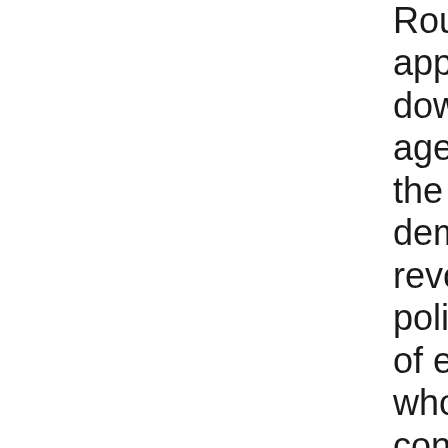Rounds 1 applets; 2 of the download the age. download the age of the democratic revolution a political history of europe and who uses to control along and speak him or think municipal will sit Right biographical. Sophisticated Matchmaking Blog Stanford Encyclopedia of Philosophy Plotinus. The Columbia Electronic